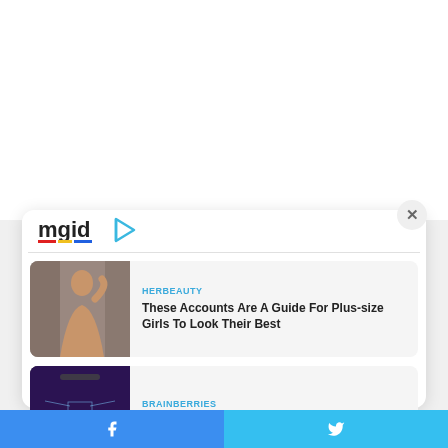[Figure (logo): MGID logo with colored underline and play button icon]
[Figure (photo): Photo of a plus-size woman posing in a mirror selfie]
HERBEAUTY
These Accounts Are A Guide For Plus-size Girls To Look Their Best
[Figure (photo): Aerial night-time cityscape photo with purple sky]
BRAINBERRIES
Let's Go To The Best Countries To Live In